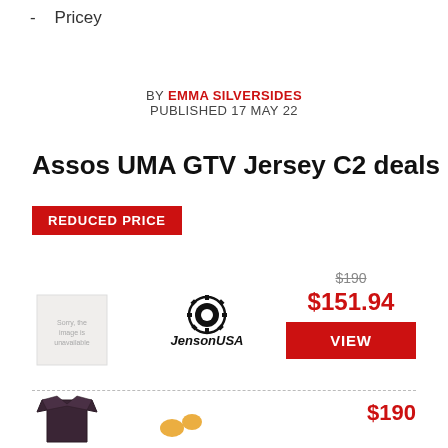- Pricey
BY EMMA SILVERSIDES
PUBLISHED 17 MAY 22
Assos UMA GTV Jersey C2 deals
REDUCED PRICE
[Figure (other): Product image placeholder box for Assos UMA GTV Jersey C2]
[Figure (logo): JensonUSA retailer logo with gear/sprocket design]
$190 (strikethrough) $151.94 VIEW
[Figure (photo): Photo of dark cycling jersey (Assos UMA GTV Jersey C2)]
[Figure (logo): Retailer logo (partial, orange/yellow marks visible)]
$190